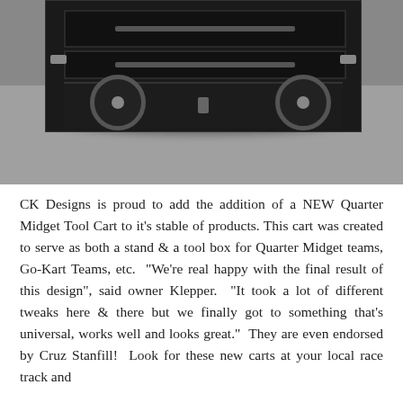[Figure (photo): A black metal tool cart with drawers and caster wheels, sitting on a gravel surface. The cart is viewed from a low angle showing the bottom drawers and wheels clearly.]
CK Designs is proud to add the addition of a NEW Quarter Midget Tool Cart to it's stable of products. This cart was created to serve as both a stand & a tool box for Quarter Midget teams, Go-Kart Teams, etc. "We're real happy with the final result of this design", said owner Klepper. "It took a lot of different tweaks here & there but we finally got to something that's universal, works well and looks great." They are even endorsed by Cruz Stanfill! Look for these new carts at your local race track and